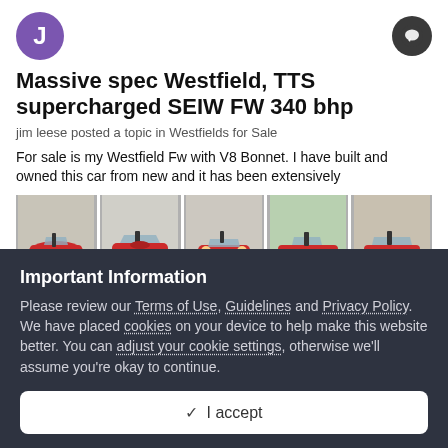[Figure (logo): Purple circular avatar with white letter J]
Massive spec Westfield, TTS supercharged SEIW FW 340 bhp
jim leese posted a topic in Westfields for Sale
For sale is my Westfield Fw with V8 Bonnet. I have built and owned this car from new and it has been extensively
[Figure (photo): Row of five photos showing a red Westfield kit car from various angles]
Important Information
Please review our Terms of Use, Guidelines and Privacy Policy. We have placed cookies on your device to help make this website better. You can adjust your cookie settings, otherwise we'll assume you're okay to continue.
✓  I accept